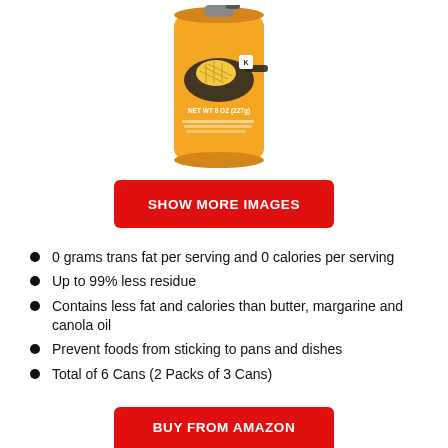[Figure (photo): Orange aerosol spray can of cooking spray, labeled NET WT 8 OZ (227g), with an image of a frying pan and waffle on the can.]
SHOW MORE IMAGES
0 grams trans fat per serving and 0 calories per serving
Up to 99% less residue
Contains less fat and calories than butter, margarine and canola oil
Prevent foods from sticking to pans and dishes
Total of 6 Cans (2 Packs of 3 Cans)
BUY FROM AMAZON